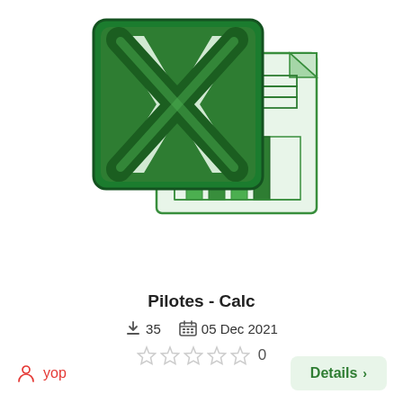[Figure (logo): Microsoft Excel / Calc spreadsheet application icon with green X logo and bar chart]
Pilotes - Calc
35   05 Dec 2021
☆☆☆☆☆ 0
yop
Details >